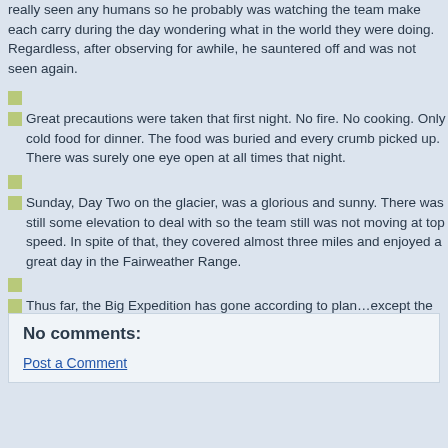really seen any humans so he probably was watching the team make each carry during the day wondering what in the world they were doing. Regardless, after observing for awhile, he sauntered off and was not seen again.
Great precautions were taken that first night. No fire. No cooking. Only cold food for dinner. The food was buried and every crumb picked up. There was surely one eye open at all times that night.
Sunday, Day Two on the glacier, was a glorious and sunny. There was still some elevation to deal with so the team still was not moving at top speed. In spite of that, they covered almost three miles and enjoyed a great day in the Fairweather Range.
Thus far, the Big Expedition has gone according to plan…except the “Visitor”. Everyone is healthy. The gear is working and they are bearing down on their base camp location. More to come.
Posted by American Alpine Institute at 8:30 AM
No comments:
Post a Comment